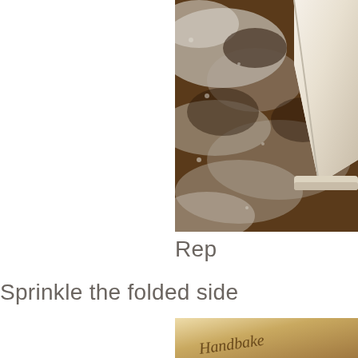[Figure (photo): Close-up photo of dough being folded on a flour-dusted dark surface, with a folded edge of pale dough visible in the upper right corner.]
Rep
Sprinkle the folded side
[Figure (photo): Photo of a baked item on a light surface with cursive handwriting text reading 'Handbake'.]